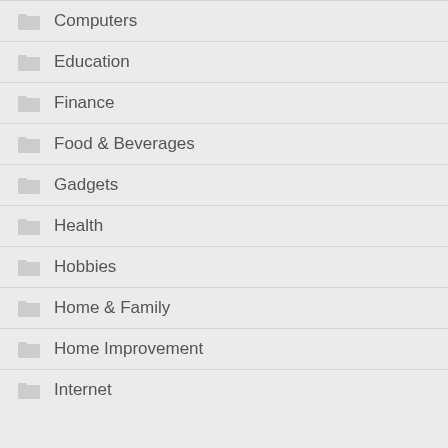Computers
Education
Finance
Food & Beverages
Gadgets
Health
Hobbies
Home & Family
Home Improvement
Internet